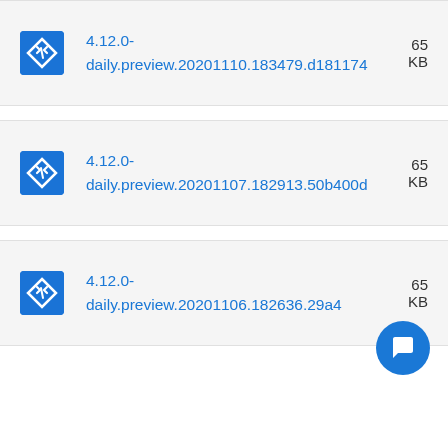4.12.0-daily.preview.20201110.183479.d181174  65 KB
4.12.0-daily.preview.20201107.182913.50b400d  65 KB
4.12.0-daily.preview.20201106.182636.29a4...  65 KB